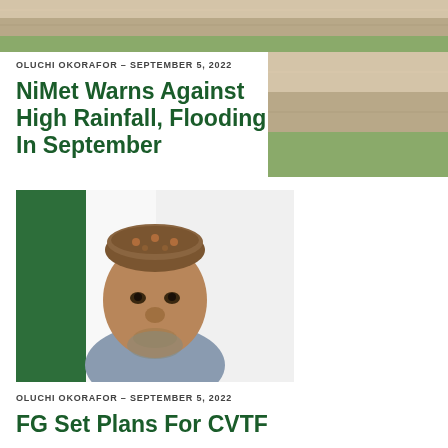[Figure (photo): Decorative wood-texture banner image at top of page, partially visible]
OLUCHI OKORAFOR – SEPTEMBER 5, 2022
NiMet Warns Against High Rainfall, Flooding In September
[Figure (photo): Portrait photo of a Nigerian official wearing a traditional embroidered cap and gray clothing, with a Nigerian flag visible in the background]
OLUCHI OKORAFOR – SEPTEMBER 5, 2022
FG Set Plans For CVTF...